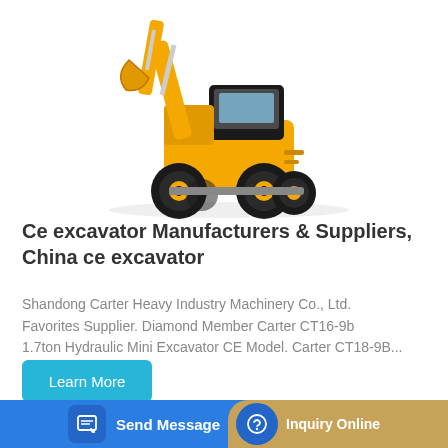[Figure (photo): Yellow construction wheel loader / excavator machine on white background, viewed from the front-left angle, with raised hydraulic arm and bucket attachment.]
Ce excavator Manufacturers & Suppliers, China ce excavator
Shandong Carter Heavy Industry Machinery Co., Ltd. Favorites Supplier. Diamond Member Carter CT16-9b 1.7ton Hydraulic Mini Excavator CE Model. Carter CT18-9B...
Learn More
Send Message
Inquiry Online